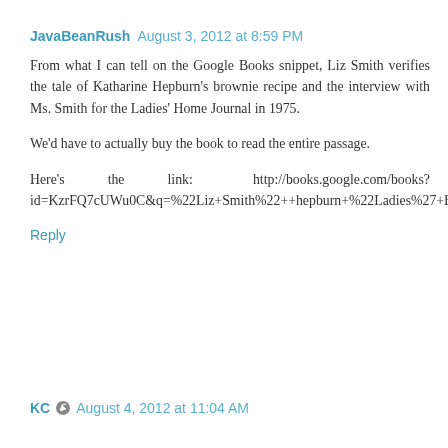JavaBeanRush August 3, 2012 at 8:59 PM
From what I can tell on the Google Books snippet, Liz Smith verifies the tale of Katharine Hepburn's brownie recipe and the interview with Ms. Smith for the Ladies' Home Journal in 1975.
We'd have to actually buy the book to read the entire passage.
Here's the link: http://books.google.com/books?id=KzrFQ7cUWu0C&q=%22Liz+Smith%22++hepburn+%22Ladies%27+Home+Journal%22&dq=%22Liz+Smith%22++hepburn+%22Ladies%27+Home+Journal%22&source=bl&ots=fMESOF3_ur&sig=VZiLy2st1lGDgDF1kbE7BN0MsfU&hl=en&sa=X&ei=75wcUIXbBqT40gHNgoEQ&ved=0CDYQ6AEwAQ
Reply
KC August 4, 2012 at 11:04 AM